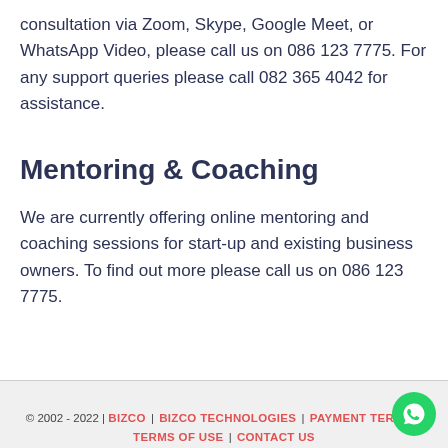consultation via Zoom, Skype, Google Meet, or WhatsApp Video, please call us on 086 123 7775. For any support queries please call 082 365 4042 for assistance.
Mentoring & Coaching
We are currently offering online mentoring and coaching sessions for start-up and existing business owners. To find out more please call us on 086 123 7775.
© 2002 - 2022 | BIZCO | BIZCO TECHNOLOGIES | PAYMENT TERMS | TERMS OF USE | CONTACT US